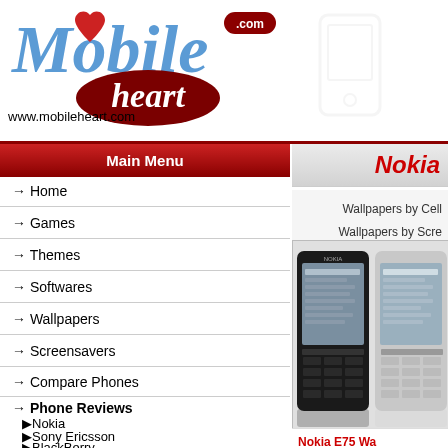[Figure (logo): MobileHeart.com logo with stylized blue italic 'Mobile' text, red heart, cursive 'heart' on dark red ellipse, and .com badge]
www.mobileheart.com
Main Menu
Home
Games
Themes
Softwares
Wallpapers
Screensavers
Compare Phones
Phone Reviews
Nokia
Sony Ericsson
BlackBerry
Samsung
Motorola
LG
HTC
Apple
Palm
Nokia
Wallpapers by Cell
Wallpapers by Scre
[Figure (photo): Two Nokia E75 mobile phones showing QWERTY keyboard, displayed side by side]
Nokia E75 Wa